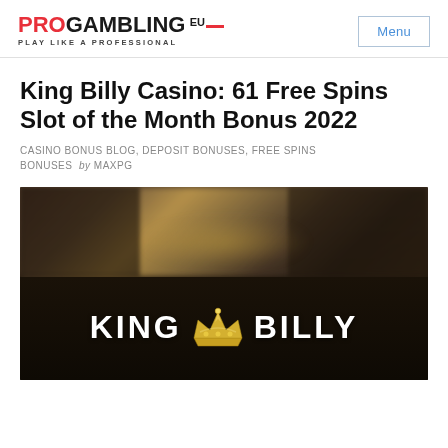PROGAMBLING.EU — PLAY LIKE A PROFESSIONAL | Menu
King Billy Casino: 61 Free Spins Slot of the Month Bonus 2022
CASINO BONUS BLOG, DEPOSIT BONUSES, FREE SPINS BONUSES by MAXPG
[Figure (photo): King Billy Casino hero banner: dark blurred casino background with 'KING BILLY' text and gold crown logo in the center]